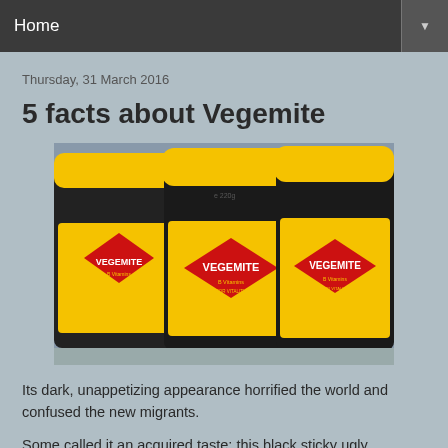Home
Thursday, 31 March 2016
5 facts about Vegemite
[Figure (photo): Photo of multiple yellow Vegemite jars with red diamond logo on shelf, showing 220g size. Labels read VEGEMITE B Vitamins FOR VITALITY.]
Its dark, unappetizing appearance horrified the world and confused the new migrants.
Some called it an acquired taste; this black sticky ugly